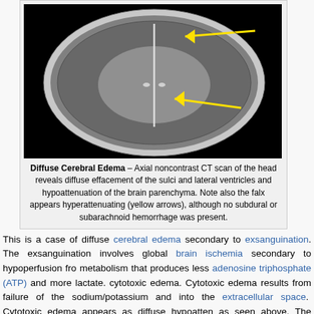[Figure (photo): Axial noncontrast CT scan of the head showing diffuse cerebral edema. The image is in grayscale/black background. Two yellow arrows point to the falx region (top) and midline structures (bottom).]
Diffuse Cerebral Edema – Axial noncontrast CT scan of the head reveals diffuse effacement of the sulci and lateral ventricles and hypoattenuation of the brain parenchyma. Note also the falx appears hyperattenuating (yellow arrows), although no subdural or subarachnoid hemorrhage was present.
This is a case of diffuse cerebral edema secondary to exsanguination. The exsanguination involves global brain ischemia secondary to hypoperfusion fro metabolism that produces less adenosine triphosphate (ATP) and more lactate. cytotoxic edema. Cytotoxic edema results from failure of the sodium/potassium and into the extracellular space. Cytotoxic edema appears as diffuse hypoatten as seen above. The prognosis at this point is extremely poor.
The ...